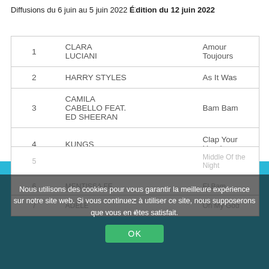Diffusions du 6 juin au 5 juin 2022 Édition du 12 juin 2022
| # | Artist | Song |
| --- | --- | --- |
| 1 | CLARA LUCIANI | Amour Toujours |
| 2 | HARRY STYLES | As It Was |
| 3 | CAMILA CABELLO feat. ED SHEERAN | Bam Bam |
| 4 | KUNGS | Clap Your Hands |
| 5 |  | Middle Of the Night |
| 6 | MENTISSA fe... | El Bam |
| 7 | ADELE | Oh My God |
Nous utilisons des cookies pour vous garantir la meilleure expérience sur notre site web. Si vous continuez à utiliser ce site, nous supposerons que vous en êtes satisfait. OK